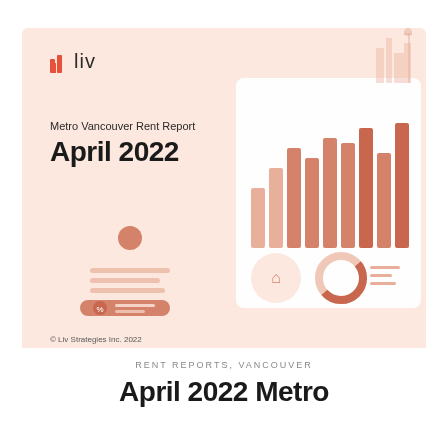[Figure (illustration): Cover card for Metro Vancouver Rent Report April 2022 by Liv Strategies Inc., featuring the liv logo, dashboard illustrations showing bar charts and circular icons on a salmon/peach background]
© Liv Strategies Inc. 2022
RENT REPORTS, VANCOUVER
April 2022 Metro